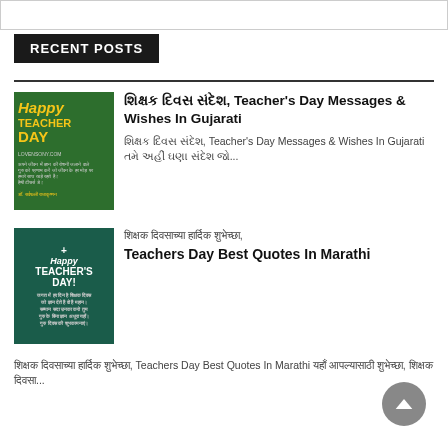RECENT POSTS
[Figure (photo): Happy Teacher's Day image with green background and gold text]
શિક્ષક દિવસ સંદેશ, Teacher's Day Messages & Wishes In Gujarati
શિક્ષક દિવસ સંદેશ, Teacher's Day Messages & Wishes In Gujarati તમે અહીં ઘણા સંદેશ જો...
[Figure (photo): Happy Teacher's Day image with dark green background]
शिक्षक दिवसाच्या हार्दिक शुभेच्छा, Teachers Day Best Quotes In Marathi
शिक्षक दिवसाच्या हार्दिक शुभेच्छा, Teachers Day Best Quotes In Marathi यहाँ आपल्यासाठी शुभेच्छा, शिक्षक दिवसा...